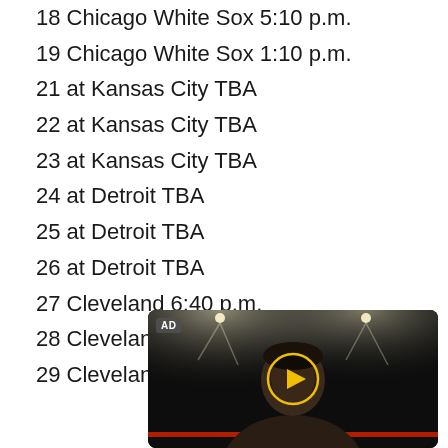18 Chicago White Sox 5:10 p.m.
19 Chicago White Sox 1:10 p.m.
21 at Kansas City TBA
22 at Kansas City TBA
23 at Kansas City TBA
24 at Detroit TBA
25 at Detroit TBA
26 at Detroit TBA
27 Cleveland 6:40 p.m.
28 Cleveland 6:40 p.m.
29 Cleveland 6:40 p.m.
[Figure (screenshot): Video advertisement showing a boxer in a boxing ring under spotlights, with a yellow play button overlay and an AD label in the top-left corner.]